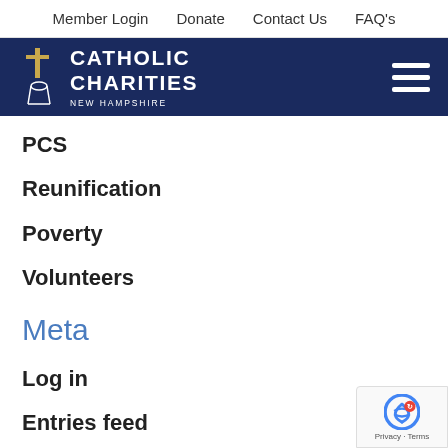Member Login   Donate   Contact Us   FAQ's
[Figure (logo): Catholic Charities New Hampshire logo with cross and candle icon on dark navy blue banner, with hamburger menu icon on the right]
PCS
Reunification
Poverty
Volunteers
Meta
Log in
Entries feed